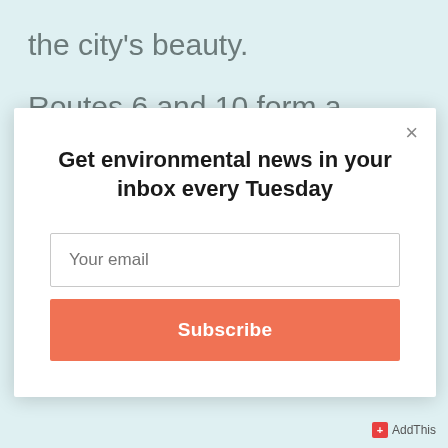the city's beauty.
Routes 6 and 10 form a border to a
[Figure (screenshot): Modal popup dialog with title 'Get environmental news in your inbox every Tuesday', an email input field with placeholder 'Your email', and a coral-colored 'Subscribe' button. Has a close (×) button in the top right corner.]
AddThis